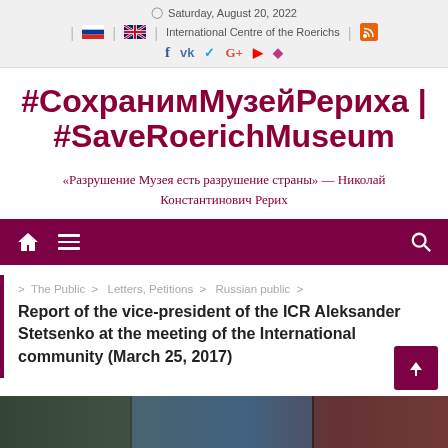Saturday, August 20, 2022 | International Centre of the Roerichs
#СохранимМузейРериха | #SaveRoerichMuseum
«Разрушение Музея есть разрушение страны» — Николай Константинович Рерих
Navigation bar
> The Public > Letters, Petitions > Russian public >
Report of the vice-president of the ICR Aleksander Stetsenko at the meeting of the International community (March 25, 2017)
[Figure (photo): Bottom partial image strip showing artwork/paintings]